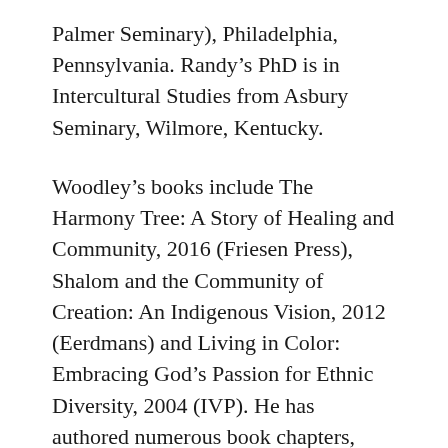Palmer Seminary), Philadelphia, Pennsylvania. Randy's PhD is in Intercultural Studies from Asbury Seminary, Wilmore, Kentucky.
Woodley's books include The Harmony Tree: A Story of Healing and Community, 2016 (Friesen Press), Shalom and the Community of Creation: An Indigenous Vision, 2012 (Eerdmans) and Living in Color: Embracing God's Passion for Ethnic Diversity, 2004 (IVP). He has authored numerous book chapters, contributing essays and articles in compilations such as the Dictionary of Scripture and Ethics (Baker Academic), An Emergent Manifesto of Hope (Baker), The Justice Project (Baker), and The Global